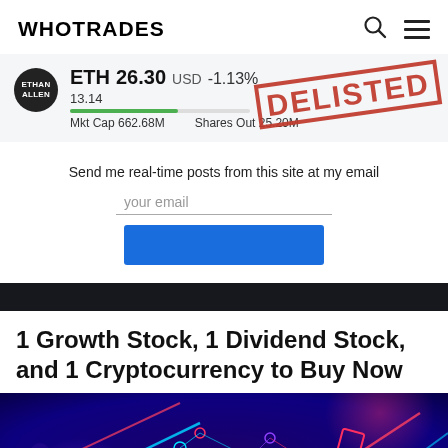WHOTRADES
ETH 26.30 USD -1.13%
13.14
Mkt Cap 662.68M
Shares Out 25.20M
DELISTED
Send me real-time posts from this site at my email
your email
1 Growth Stock, 1 Dividend Stock, and 1 Cryptocurrency to Buy Now
[Figure (photo): Neon glowing cryptocurrency/blockchain network illustration on dark blue background with colorful light beams and geometric shapes]